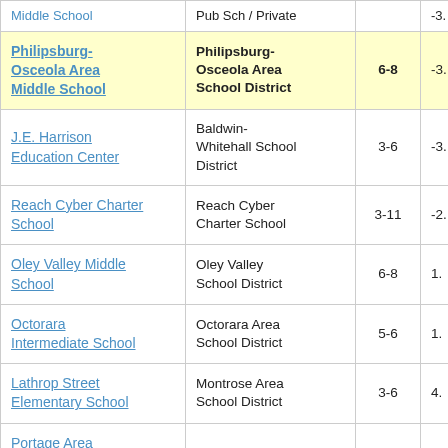| School | District | Grades | Value |
| --- | --- | --- | --- |
| Middle School (partial) | Pub Sch / Private (partial) |  | -3. |
| Philipsburg-Osceola Area Middle School | Philipsburg-Osceola Area School District | 6-8 | -3. |
| J.E. Harrison Education Center | Baldwin-Whitehall School District | 3-6 | -3. |
| Reach Cyber Charter School | Reach Cyber Charter School | 3-11 | -2. |
| Oley Valley Middle School | Oley Valley School District | 6-8 | 1. |
| Octorara Intermediate School | Octorara Area School District | 5-6 | 1. |
| Lathrop Street Elementary School | Montrose Area School District | 3-6 | 4. |
| Portage Area Junior/Senior High School | Portage Area School District | 7-10 | -1. |
| (partial) | Warren County |  |  |